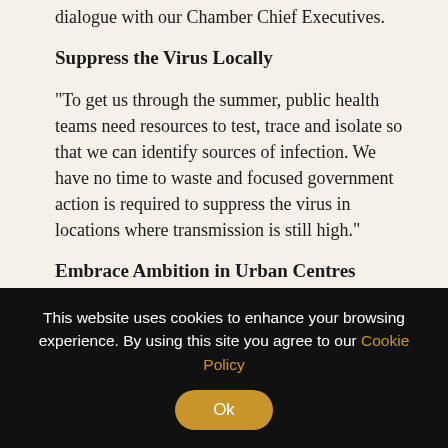dialogue with our Chamber Chief Executives.
Suppress the Virus Locally
“To get us through the summer, public health teams need resources to test, trace and isolate so that we can identify sources of infection. We have no time to waste and focused government action is required to suppress the virus in locations where transmission is still high.”
Embrace Ambition in Urban Centres
“We need to see Government, local authorities and others afford businesses ambitious…
This website uses cookies to enhance your browsing experience. By using this site you agree to our Cookie Policy Ok